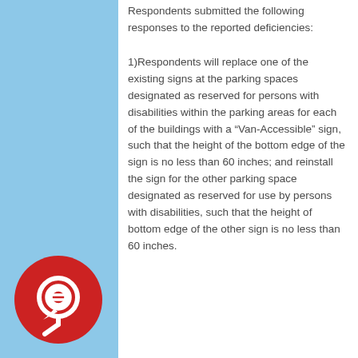Respondents submitted the following responses to the reported deficiencies:
1)Respondents will replace one of the existing signs at the parking spaces designated as reserved for persons with disabilities within the parking areas for each of the buildings with a “Van-Accessible” sign, such that the height of the bottom edge of the sign is no less than 60 inches; and reinstall the sign for the other parking space designated as reserved for use by persons with disabilities, such that the height of bottom edge of the other sign is no less than 60 inches.